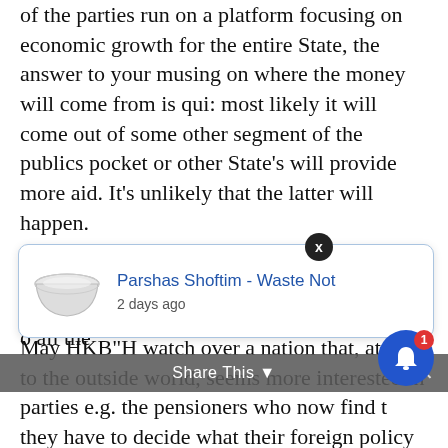of the parties run on a platform focusing on economic growth for the entire State, the answer to your musing on where the money will come from is qui: most likely it will come out of some other segment of the publics pocket or other State's will provide more aid. It's unlikely that the latter will happen.
The post election maneuvering makes it clear that the spoils system cointinues to thrive. I
May HKB"H watch over a nation that, at least to the outside world, seems more interested in taking care of “unserer” than of the future of the entire people (yes, I know you can argue that it is the Yeshivot who actually
[Figure (screenshot): Popup notification card showing a bowl image, title 'Parshas Shoftim - Waste Not', and '2 days ago' timestamp, with a dark X close button overlay]
nd please o all the parties e.g. the pensioners who now find t they have to decide what their foreign policy